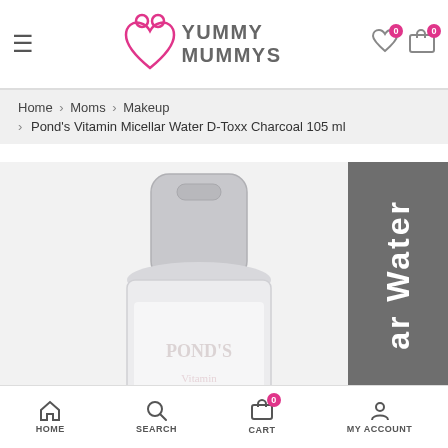Yummy Mummys – header with hamburger menu, logo, wishlist and cart icons
Home > Moms > Makeup > Pond's Vitamin Micellar Water D-Toxx Charcoal 105 ml
[Figure (photo): Product photo of Pond's Vitamin Micellar Water D-Toxx Charcoal 105 ml bottle, showing the cap and upper portion of the bottle. Beside it is a gray panel with vertical white text reading 'ar Water'.]
HOME  SEARCH  CART 0  MY ACCOUNT